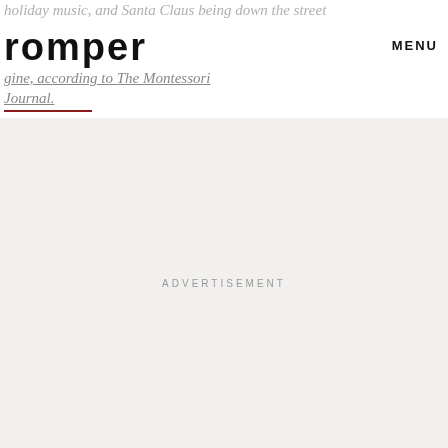holiday music, and Santa Claus being down the street
romper
MENU
gine, according to The Montessori Journal.
ADVERTISEMENT